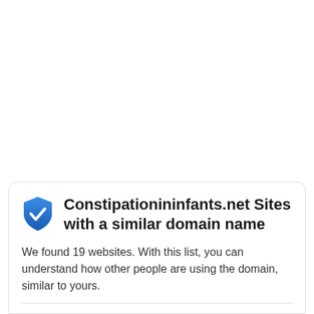Constipationininfants.net Sites with a similar domain name
We found 19 websites. With this list, you can understand how other people are using the domain, similar to yours.